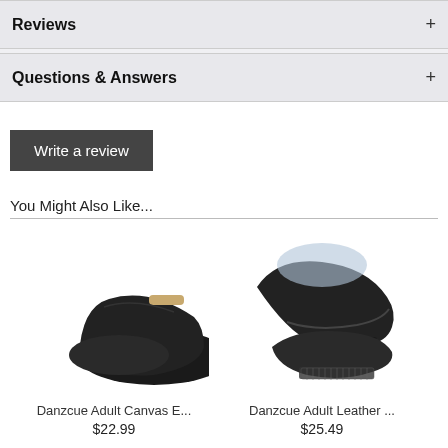Reviews
Questions & Answers
Write a review
You Might Also Like...
[Figure (photo): Black canvas ballet/character shoe with gold elastic strap and small heel]
Danzcue Adult Canvas E...
$22.99
[Figure (photo): Black leather tap shoes shown from above at an angle]
Danzcue Adult Leather ...
$25.49
[Figure (photo): White canvas jazz/lace-up shoes, partially visible]
[Figure (photo): Black dance pants, lower portion visible]
[Figure (screenshot): reCAPTCHA badge with Privacy and Terms links]